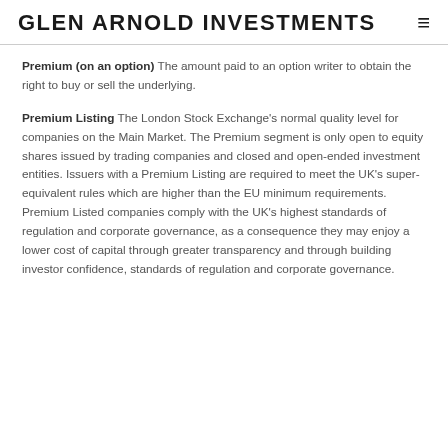GLEN ARNOLD INVESTMENTS
Premium (on an option) The amount paid to an option writer to obtain the right to buy or sell the underlying.
Premium Listing The London Stock Exchange's normal quality level for companies on the Main Market. The Premium segment is only open to equity shares issued by trading companies and closed and open-ended investment entities. Issuers with a Premium Listing are required to meet the UK's super-equivalent rules which are higher than the EU minimum requirements. Premium Listed companies comply with the UK's highest standards of regulation and corporate governance, as a consequence they may enjoy a lower cost of capital through greater transparency and through building investor confidence, standards of regulation and corporate governance.